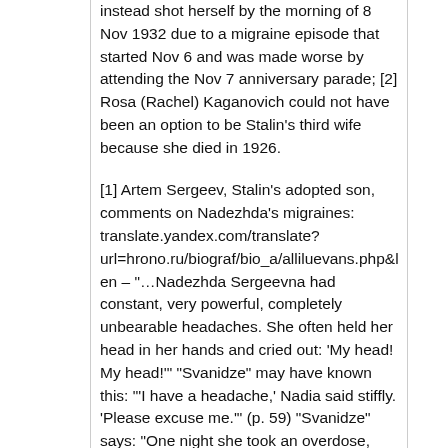instead shot herself by the morning of 8 Nov 1932 due to a migraine episode that started Nov 6 and was made worse by attending the Nov 7 anniversary parade; [2] Rosa (Rachel) Kaganovich could not have been an option to be Stalin's third wife because she died in 1926.
[1] Artem Sergeev, Stalin's adopted son, comments on Nadezhda's migraines: translate.yandex.com/translate?url=hrono.ru/biograf/bio_a/alliluevans.php&lang=ru-en – "…Nadezhda Sergeevna had constant, very powerful, completely unbearable headaches. She often held her head in her hands and cried out: 'My head! My head!'" "Svanidze" may have known this: "'I have a headache,' Nadia said stiffly. 'Please excuse me.'" (p. 59) "Svanidze" says: "One night she took an overdose, with fatal effect." (p. 98)